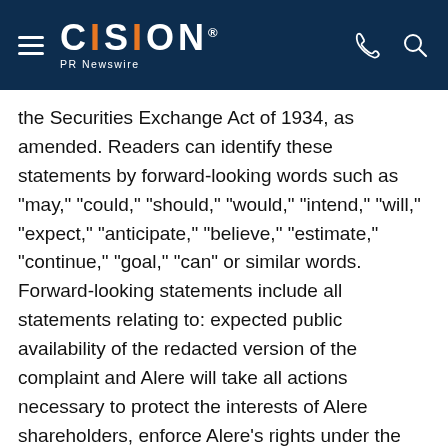CISION PR Newswire
the Securities Exchange Act of 1934, as amended. Readers can identify these statements by forward-looking words such as "may," "could," "should," "would," "intend," "will," "expect," "anticipate," "believe," "estimate," "continue," "goal," "can" or similar words. Forward-looking statements include all statements relating to: expected public availability of the redacted version of the complaint and Alere will take all actions necessary to protect the interests of Alere shareholders, enforce Alere's rights under the merger agreement and compel Abbott to complete the transaction in accordance with its terms. A number of important factors could cause actual results of the Company and its subsidiaries to differ materially from